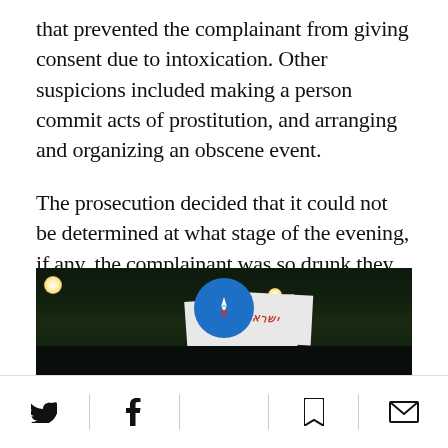that prevented the complainant from giving consent due to intoxication. Other suspicions included making a person commit acts of prostitution, and arranging and organizing an obscene event.
The prosecution decided that it could not be determined at what stage of the evening, if any, the complainant was so drunk they couldn’t give their consent to the sexual acts that took place.
[Figure (photo): Nighttime protest scene with crowd holding banners/signs, taken from ground level with streetlights visible.]
Social share icons: Twitter, Facebook, Shortcut/News button, Bookmark, Email